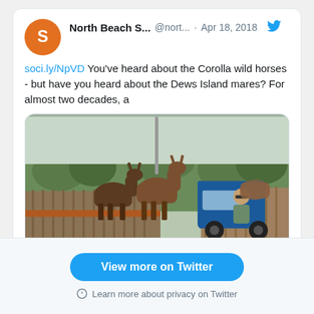[Figure (screenshot): Screenshot of a Twitter/social media post by North Beach S... (@nort...) dated Apr 18, 2018. The post reads: 'soci.ly/NpVD You've heard about the Corolla wild horses - but have you heard about the Dews Island mares? For almost two decades, a' with an embedded photo of horses on a wooden bridge/ramp with a blue utility vehicle and a person driving it. Below the tweet are comment and like icons. Below the card is a 'View more on Twitter' button and a 'Learn more about privacy on Twitter' link.]